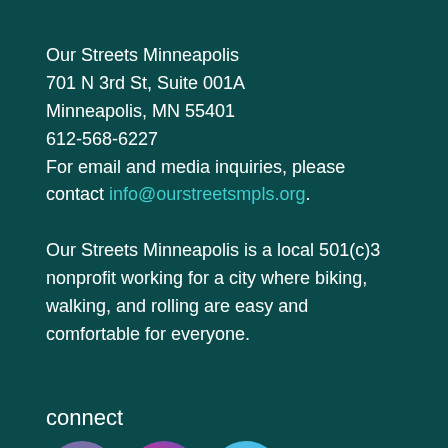Our Streets Minneapolis
701 N 3rd St, Suite 001A
Minneapolis, MN 55401
612-568-6227
For email and media inquiries, please contact info@ourstreetsmpls.org.
Our Streets Minneapolis is a local 501(c)3 nonprofit working for a city where biking, walking, and rolling are easy and comfortable for everyone.
connect
[Figure (illustration): Three social media icons: Facebook (purple circle with white f), Instagram (circle with colorful gradient camera icon), Twitter (light blue circle with white bird icon)]